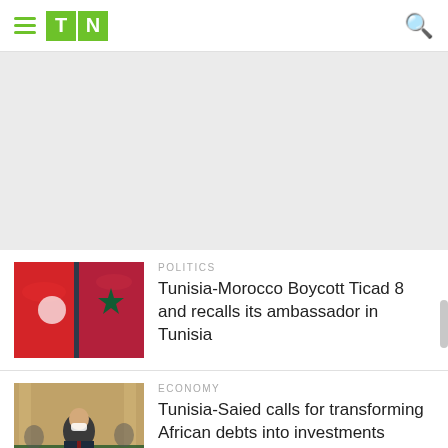TN (logo) — navigation header
[Figure (other): Gray advertisement placeholder area]
[Figure (photo): Tunisian and Moroccan flags with a pole against a blue sky]
POLITICS
Tunisia-Morocco Boycott Ticad 8 and recalls its ambassador in Tunisia
[Figure (photo): Man in suit at a formal meeting, wearing a mask]
ECONOMY
Tunisia-Saied calls for transforming African debts into investments